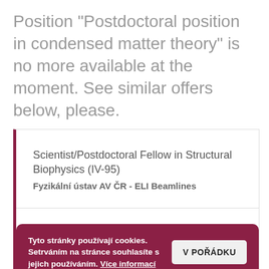Position "Postdoctoral position in condensed matter theory" is no more available at the moment. See similar offers below, please.
Scientist/Postdoctoral Fellow in Structural Biophysics (IV-95)
Fyzikální ústav AV ČR - ELI Beamlines
Fyzikální ústav AV ČR...
Tyto stránky používají cookies. Setrváním na stránce souhlasíte s jejich používáním. Více informací   V POŘÁDKU